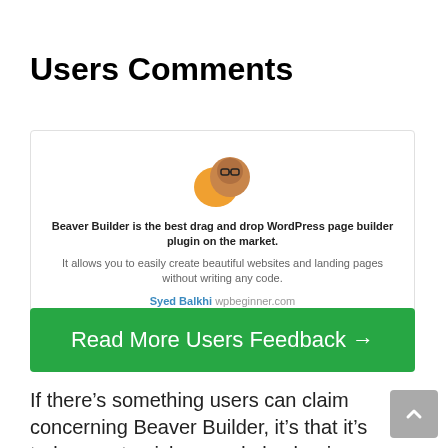Users Comments
[Figure (screenshot): Testimonial card with avatar, bold quote about Beaver Builder being the best drag and drop WordPress page builder plugin, supporting text, author name Syed Balkhi wpbeginner.com, and navigation dots]
Read More Users Feedback →
If there's something users can claim concerning Beaver Builder, it's that it's truly easy to pick up and also begin using.